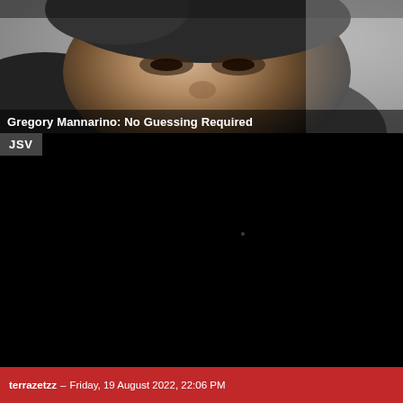[Figure (screenshot): Screenshot of a video player showing a man's face (Gregory Mannarino) in the upper portion, with the video title 'Gregory Mannarino: No Guessing Required' overlaid at the bottom of the thumbnail area. Below the thumbnail is a JSV badge label, then a large black video playback area. At the bottom is a red bar with username and timestamp.]
JSV
terrazetzz – Friday, 19 August 2022, 22:06 PM